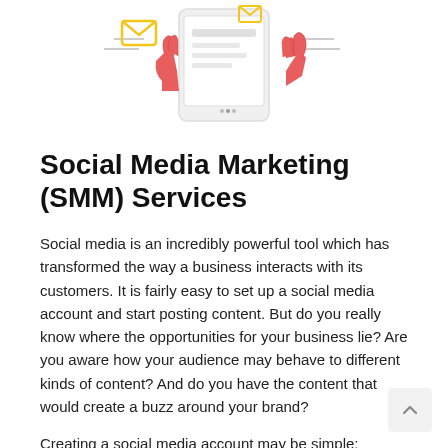[Figure (illustration): Illustration of hands holding a tablet/device with email and notification icons around it, depicted in a flat design style with red/pink and yellow colors.]
Social Media Marketing (SMM) Services
Social media is an incredibly powerful tool which has transformed the way a business interacts with its customers. It is fairly easy to set up a social media account and start posting content. But do you really know where the opportunities for your business lie? Are you aware how your audience may behave to different kinds of content? And do you have the content that would create a buzz around your brand?
Creating a social media account may be simple; creating a result-oriented strategy for effective social media marketing is not.